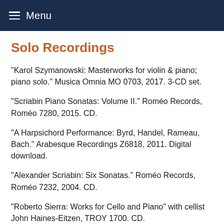Menu
Solo Recordings
"Karol Szymanowski: Masterworks for violin & piano; piano solo." Musica Omnia MO 0703, 2017. 3-CD set.
"Scriabin Piano Sonatas: Volume II." Roméo Records, Roméo 7280, 2015. CD.
"A Harpsichord Performance: Byrd, Handel, Rameau, Bach." Arabesque Recordings Z6818, 2011. Digital download.
"Alexander Scriabin: Six Sonatas." Roméo Records, Roméo 7232, 2004. CD.
"Roberto Sierra: Works for Cello and Piano" with cellist John Haines-Eitzen, TROY 1700. CD.